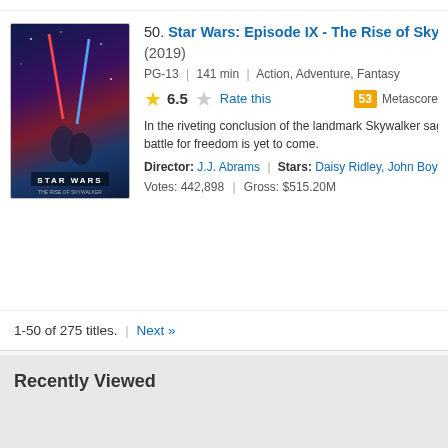[Figure (photo): Movie poster for Star Wars: Episode IX - The Rise of Skywalker, colorful action imagery with lightsabers]
50. Star Wars: Episode IX - The Rise of Skywalker (2019)
PG-13 | 141 min | Action, Adventure, Fantasy
6.5  Rate this  53 Metascore
In the riveting conclusion of the landmark Skywalker saga, new and ancient forces collide in an epic battle for freedom is yet to come.
Director: J.J. Abrams | Stars: Daisy Ridley, John Boyega, Oscar...
Votes: 442,898 | Gross: $515.20M
1-50 of 275 titles. | Next »
Recently Viewed